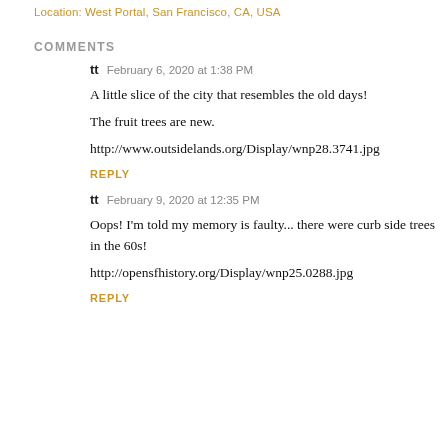Location: West Portal, San Francisco, CA, USA
COMMENTS
tt  February 6, 2020 at 1:38 PM
A little slice of the city that resembles the old days!
The fruit trees are new.
http://www.outsidelands.org/Display/wnp28.3741.jpg
REPLY
tt  February 9, 2020 at 12:35 PM
Oops! I'm told my memory is faulty... there were curb side trees in the 60s!
http://opensfhistory.org/Display/wnp25.0288.jpg
REPLY